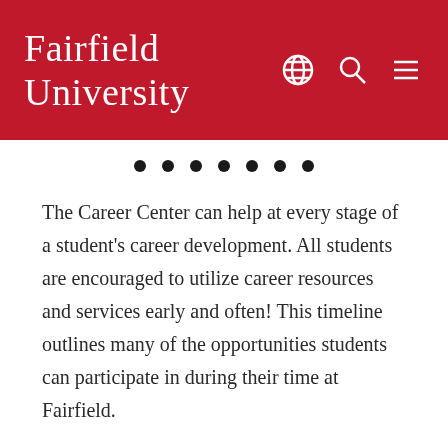Fairfield University
[Figure (other): Pagination dots row with 7 filled circles]
The Career Center can help at every stage of a student's career development. All students are encouraged to utilize career resources and services early and often! This timeline outlines many of the opportunities students can participate in during their time at Fairfield.
Students can make an appointment by calling 203-254-4081 or e-mailing careers@fairfield.edu.